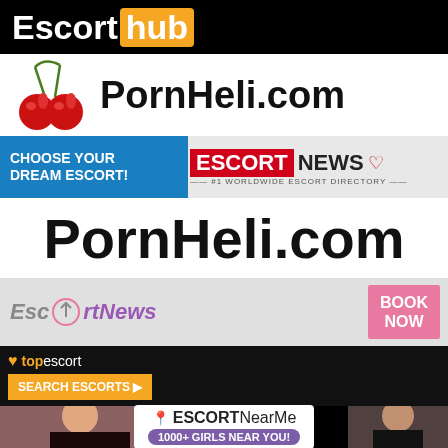[Figure (logo): EscortHub logo — white bold 'Escort' text and orange badge with 'hub' on black background]
[Figure (logo): PornHeli.com logo — cherry illustration on left, large bold black text 'PornHeli.com' on white background]
[Figure (infographic): EscortNews banner — blue left panel with white bold text 'CHOOSE YOUR DREAM ESCORT!', right panel shows EscortNews logo with red box 'ESCORT' and '#1 WORLDWIDE ESCORT DIRECTORY' tagline]
[Figure (logo): Large PornHeli.com text in bold black on white background]
[Figure (infographic): EscortNews banner — grey background, stylized 'EscortNews' logo in grey/purple italic, pink 'BOOK NOW' button on right, photo of woman on far right]
[Figure (infographic): TopEscort banner — dark background, yellow heart logo, 'topescort' text, orange 'SEARCH ESCORTS' button, photo of woman on right]
[Figure (infographic): EscortNearMe banner — white rounded panel with location icon, bold 'ESCORTNearMe' text, purple pill badge '1000+ GIRLS NEAR YOU!']